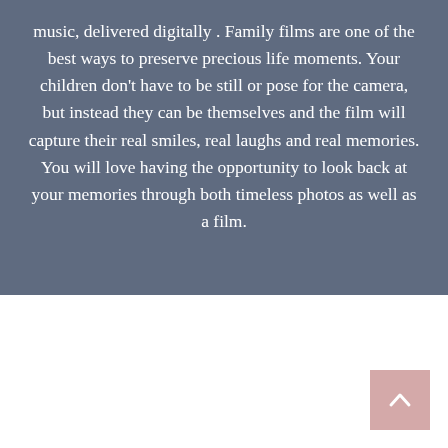music, delivered digitally . Family films are one of the best ways to preserve precious life moments. Your children don't have to be still or pose for the camera, but instead they can be themselves and the film will capture their real smiles, real laughs and real memories. You will love having the opportunity to look back at your memories through both timeless photos as well as a film.
[Figure (other): A scroll-to-top button with an upward-pointing chevron arrow, pink/mauve background, positioned in the bottom-right corner of the page.]